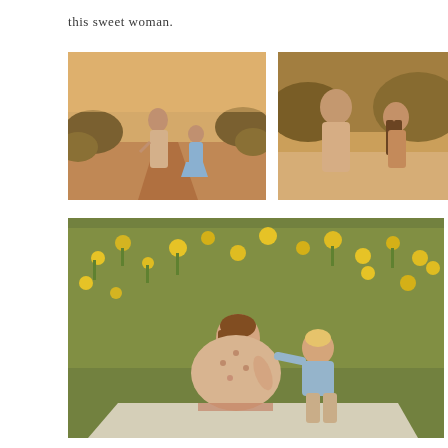this sweet woman.
[Figure (photo): A woman in a floral dress holding hands with a young girl in a blue dress on a reddish pathway, surrounded by golden-hour light and dry brush.]
[Figure (photo): A woman in a floral dress sitting and looking at an older girl with long brown hair, both outdoors in warm golden light with dry brush background.]
[Figure (photo): A smiling woman in a floral dress sitting on a white blanket outdoors among yellow sunflowers, with a young toddler boy in a light blue shirt kissing her cheek.]